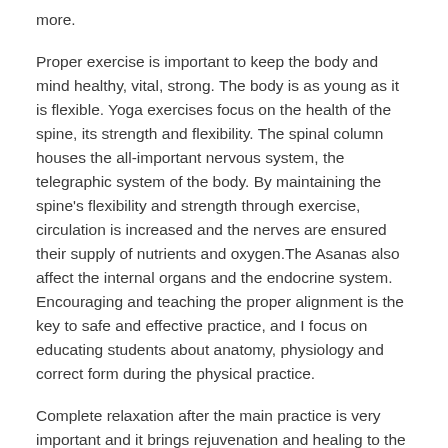more.
Proper exercise is important to keep the body and mind healthy, vital, strong. The body is as young as it is flexible. Yoga exercises focus on the health of the spine, its strength and flexibility. The spinal column houses the all-important nervous system, the telegraphic system of the body. By maintaining the spine's flexibility and strength through exercise, circulation is increased and the nerves are ensured their supply of nutrients and oxygen.The Asanas also affect the internal organs and the endocrine system. Encouraging and teaching the proper alignment is the key to safe and effective practice, and I focus on educating students about anatomy, physiology and correct form during the physical practice.
Complete relaxation after the main practice is very important and it brings rejuvenation and healing to the